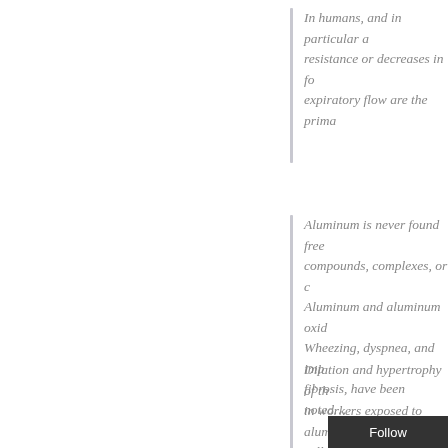In humans, and in particular a resistance or decreases in fo expiratory flow are the prima
Aluminum is never found free compounds, complexes, or c Aluminum and aluminum oxid Wheezing, dyspnea, and imp fibrosis, have been noted…
Dilation and hypertrophy of th in workers exposed to alumi cell hemoglobin and finger cl and blastic transformation of presence of soluble aluminum individual exposed to alumin
In general, exposures to bari cardiovascular